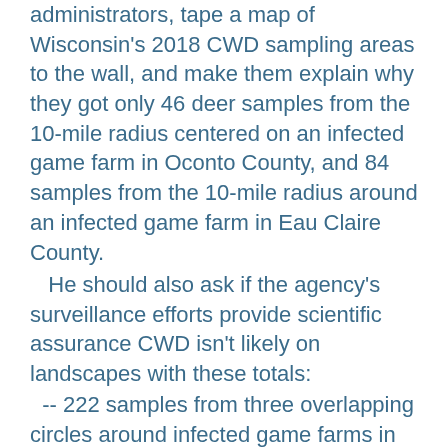administrators, tape a map of Wisconsin's 2018 CWD sampling areas to the wall, and make them explain why they got only 46 deer samples from the 10-mile radius centered on an infected game farm in Oconto County, and 84 samples from the 10-mile radius around an infected game farm in Eau Claire County.
He should also ask if the agency's surveillance efforts provide scientific assurance CWD isn't likely on landscapes with these totals:
-- 222 samples from three overlapping circles around infected game farms in Marathon, Shawano and Waupaca counties, for an